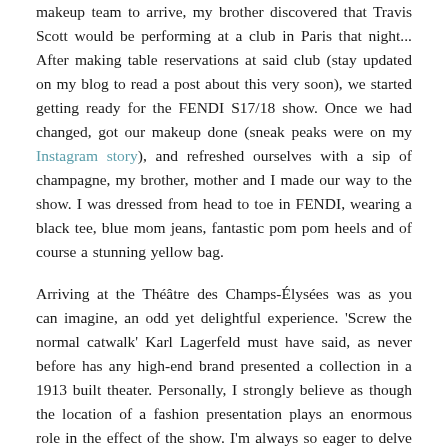makeup team to arrive, my brother discovered that Travis Scott would be performing at a club in Paris that night... After making table reservations at said club (stay updated on my blog to read a post about this very soon), we started getting ready for the FENDI S17/18 show. Once we had changed, got our makeup done (sneak peaks were on my Instagram story), and refreshed ourselves with a sip of champagne, my brother, mother and I made our way to the show. I was dressed from head to toe in FENDI, wearing a black tee, blue mom jeans, fantastic pom pom heels and of course a stunning yellow bag.
Arriving at the Théâtre des Champs-Élysées was as you can imagine, an odd yet delightful experience. 'Screw the normal catwalk' Karl Lagerfeld must have said, as never before has any high-end brand presented a collection in a 1913 built theater. Personally, I strongly believe as though the location of a fashion presentation plays an enormous role in the effect of the show. I'm always so eager to delve into the creative director's minds to try and understand why this venue?.. why this set up?.. why here?. Let me